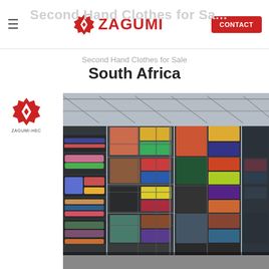Second Hand Clothes for Sale South Africa — ZAGUMI | CONTACT
South Africa
[Figure (logo): ZAGUMI-HEC logo — red diamond/gear icon above text ZAGUMI-HEC]
[Figure (photo): Warehouse photo showing large stacks of baled second-hand clothing wrapped in plastic, organized in tall columns inside an industrial warehouse with metal roof structure visible in background]